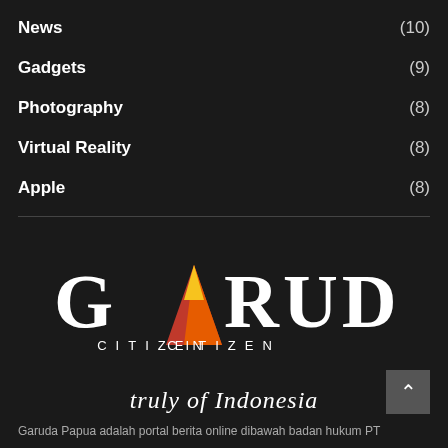News (10)
Gadgets (9)
Photography (8)
Virtual Reality (8)
Apple (8)
[Figure (logo): Garuda Citizen logo with a stylized red-orange-yellow triangular flame replacing the 'A' in GARUDA, with CITIZEN written below in spaced letters]
truly of Indonesia
Garuda Papua adalah portal berita online dibawah badan hukum PT